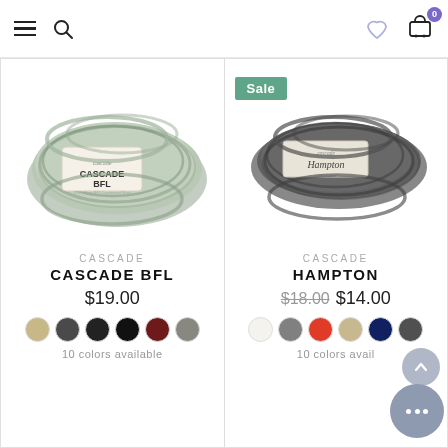Navigation bar with hamburger menu, search, wishlist heart, and cart (0)
[Figure (photo): Skein of Cascade BFL yarn in grey-green color with label]
CASCADE
CASCADE BFL
$19.00
10 colors available
[Figure (photo): Skein of Cascade Hampton yarn in dark grey color with label, Sale badge shown]
CASCADE
HAMPTON
$18.00 $14.00
10 colors available